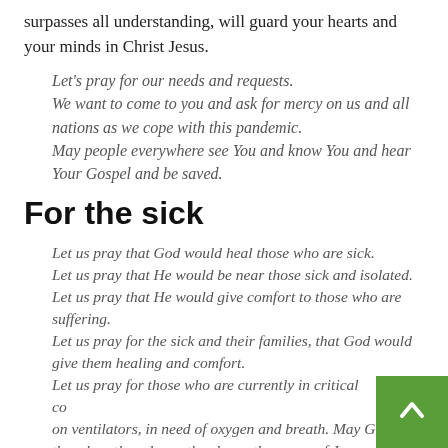surpasses all understanding, will guard your hearts and your minds in Christ Jesus.
Let's pray for our needs and requests.
We want to come to you and ask for mercy on us and all nations as we cope with this pandemic.
May people everywhere see You and know You and hear Your Gospel and be saved.
For the sick
Let us pray that God would heal those who are sick.
Let us pray that He would be near those sick and isolated.
Let us pray that He would give comfort to those who are suffering.
Let us pray for the sick and their families, that God would give them healing and comfort.
Let us pray for those who are currently in critical co… on ventilators, in need of oxygen and breath. May G… them breath and may they know the peace of Jesus.